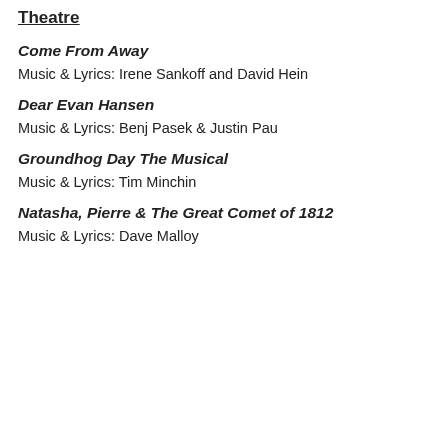Theatre
Come From Away
Music & Lyrics: Irene Sankoff and David Hein
Dear Evan Hansen
Music & Lyrics: Benj Pasek & Justin Pau
Groundhog Day The Musical
Music & Lyrics: Tim Minchin
Natasha, Pierre & The Great Comet of 1812
Music & Lyrics: Dave Malloy